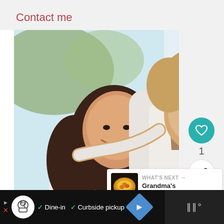Contact me
[Figure (photo): A woman with long dark hair smiling, with a young boy in a white shirt hugging her from behind. Outdoor photo with soft blurred background.]
1
WHAT'S NEXT → Grandma's Baked Chee...
✓ Dine-in  ✓ Curbside pickup